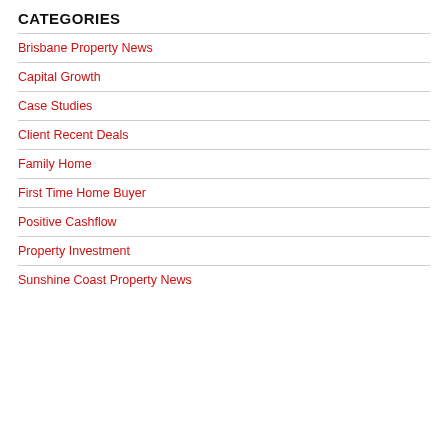CATEGORIES
Brisbane Property News
Capital Growth
Case Studies
Client Recent Deals
Family Home
First Time Home Buyer
Positive Cashflow
Property Investment
Sunshine Coast Property News